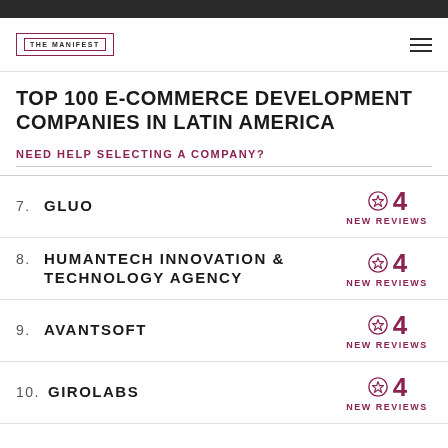THE MANIFEST
TOP 100 E-COMMERCE DEVELOPMENT COMPANIES IN LATIN AMERICA
NEED HELP SELECTING A COMPANY?
7. GLUO — 4 NEW REVIEWS
8. HUMANTECH INNOVATION & TECHNOLOGY AGENCY — 4 NEW REVIEWS
9. AVANTSOFT — 4 NEW REVIEWS
10. GIROLABS — 4 NEW REVIEWS